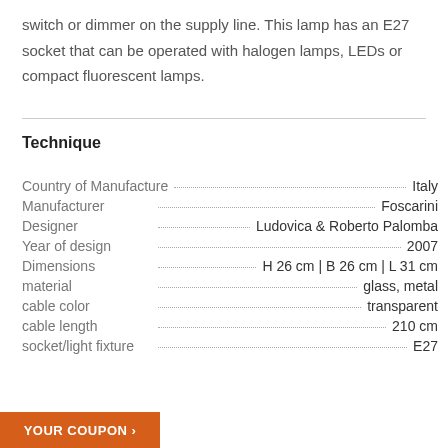switch or dimmer on the supply line. This lamp has an E27 socket that can be operated with halogen lamps, LEDs or compact fluorescent lamps.
Technique
| Property | Value |
| --- | --- |
| Country of Manufacture | Italy |
| Manufacturer | Foscarini |
| Designer | Ludovica & Roberto Palomba |
| Year of design | 2007 |
| Dimensions | H 26 cm | B 26 cm | L 31 cm |
| material | glass, metal |
| cable color | transparent |
| cable length | 210 cm |
| socket/light fixture | E27 |
YOUR COUPON »